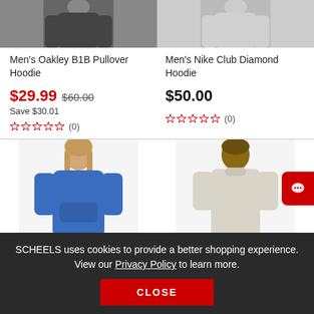[Figure (photo): Top portion of men's dark hoodie product photo, cropped]
[Figure (photo): Top portion of men's grey hoodie product photo, cropped]
Men's Oakley B1B Pullover Hoodie
Men's Nike Club Diamond Hoodie
$29.99 $60.00 Save $30.01
$50.00
[Figure (photo): Blue hoodie worn by male model, bottom half cropped]
[Figure (photo): Light beige crewneck worn by male model, bottom half cropped]
SCHEELS uses cookies to provide a better shopping experience. View our Privacy Policy to learn more.
CLOSE